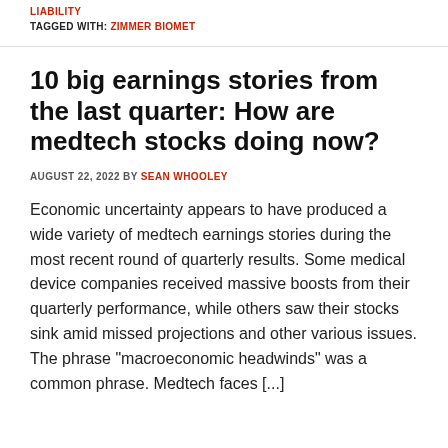LIABILITY
TAGGED WITH: ZIMMER BIOMET
10 big earnings stories from the last quarter: How are medtech stocks doing now?
AUGUST 22, 2022 BY SEAN WHOOLEY
Economic uncertainty appears to have produced a wide variety of medtech earnings stories during the most recent round of quarterly results. Some medical device companies received massive boosts from their quarterly performance, while others saw their stocks sink amid missed projections and other various issues. The phrase "macroeconomic headwinds" was a common phrase. Medtech faces [...]